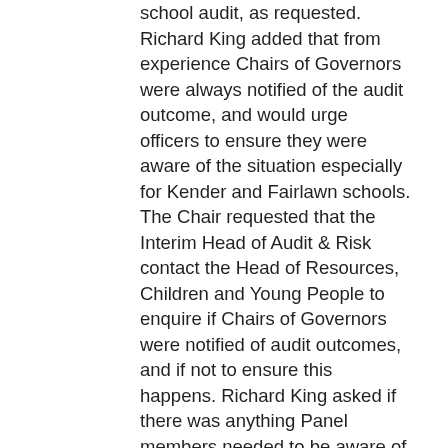school audit, as requested. Richard King added that from experience Chairs of Governors were always notified of the audit outcome, and would urge officers to ensure they were aware of the situation especially for Kender and Fairlawn schools. The Chair requested that the Interim Head of Audit & Risk contact the Head of Resources, Children and Young People to enquire if Chairs of Governors were notified of audit outcomes, and if not to ensure this happens. Richard King asked if there was anything Panel members needed to be aware of following the New Code of Practice of Internal Audit. It was noted that verification of the Charter and Terms of reference for the Panel should be updated every 3/5 years, and this would be done by the end of the year.
Panel Members raised concerns about recommendations that were categorised as high risk but have been given up to 3 months to be dealt with. They emphasised that this would send the wrong signal to schools, highlighting